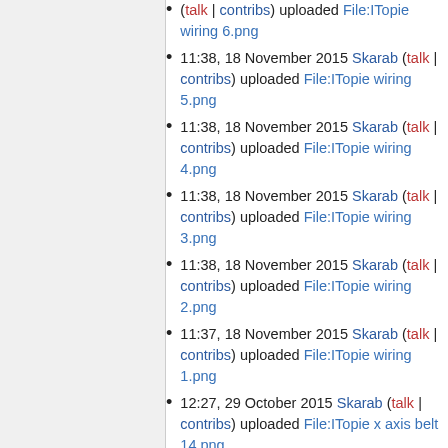11:38, 18 November 2015 Skarab (talk | contribs) uploaded File:ITopie wiring 5.png
11:38, 18 November 2015 Skarab (talk | contribs) uploaded File:ITopie wiring 4.png
11:38, 18 November 2015 Skarab (talk | contribs) uploaded File:ITopie wiring 3.png
11:38, 18 November 2015 Skarab (talk | contribs) uploaded File:ITopie wiring 2.png
11:37, 18 November 2015 Skarab (talk | contribs) uploaded File:ITopie wiring 1.png
12:27, 29 October 2015 Skarab (talk | contribs) uploaded File:ITopie x axis belt 14.png